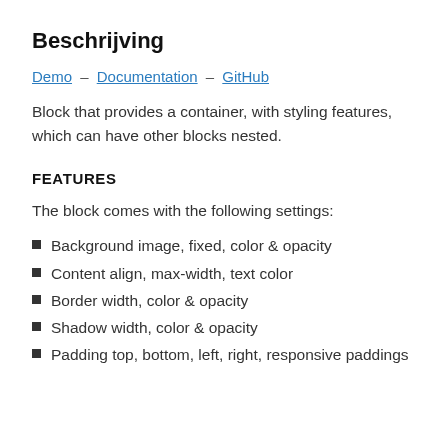Beschrijving
Demo – Documentation – GitHub
Block that provides a container, with styling features, which can have other blocks nested.
FEATURES
The block comes with the following settings:
Background image, fixed, color & opacity
Content align, max-width, text color
Border width, color & opacity
Shadow width, color & opacity
Padding top, bottom, left, right, responsive paddings